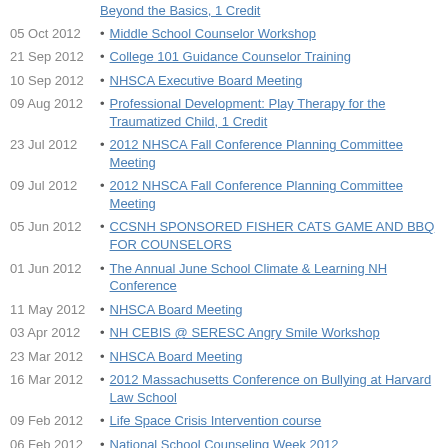Beyond the Basics, 1 Credit
05 Oct 2012 • Middle School Counselor Workshop
21 Sep 2012 • College 101 Guidance Counselor Training
10 Sep 2012 • NHSCA Executive Board Meeting
09 Aug 2012 • Professional Development: Play Therapy for the Traumatized Child, 1 Credit
23 Jul 2012 • 2012 NHSCA Fall Conference Planning Committee Meeting
09 Jul 2012 • 2012 NHSCA Fall Conference Planning Committee Meeting
05 Jun 2012 • CCSNH SPONSORED FISHER CATS GAME AND BBQ FOR COUNSELORS
01 Jun 2012 • The Annual June School Climate & Learning NH Conference
11 May 2012 • NHSCA Board Meeting
03 Apr 2012 • NH CEBIS @ SERESC Angry Smile Workshop
23 Mar 2012 • NHSCA Board Meeting
16 Mar 2012 • 2012 Massachusetts Conference on Bullying at Harvard Law School
09 Feb 2012 • Life Space Crisis Intervention course
06 Feb 2012 • National School Counseling Week 2012
18 Jan 2012 • January NHSCA Board Meeting